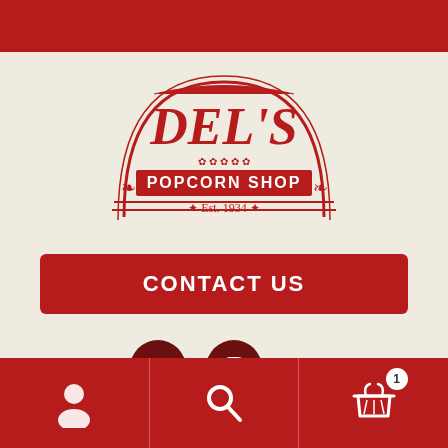[Figure (logo): Del's Popcorn Shop logo — red arch with DEL'S text and POPCORN SHOP banner, Est. 1934]
CONTACT US
[Figure (illustration): Facebook social media icon circle button]
[Figure (illustration): Instagram social media icon circle button]
[Figure (illustration): Bottom navigation bar with user account icon, search icon, and shopping cart with badge showing 1]